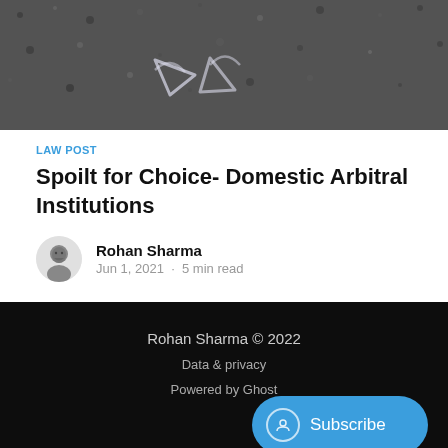[Figure (photo): Aerial or close-up view of asphalt/gravel surface with white painted arrow or figure markings, dark textured background]
LAW POST
Spoilt for Choice- Domestic Arbitral Institutions
Rohan Sharma
Jun 1, 2021 · 5 min read
Rohan Sharma © 2022
Data & privacy
Powered by Ghost